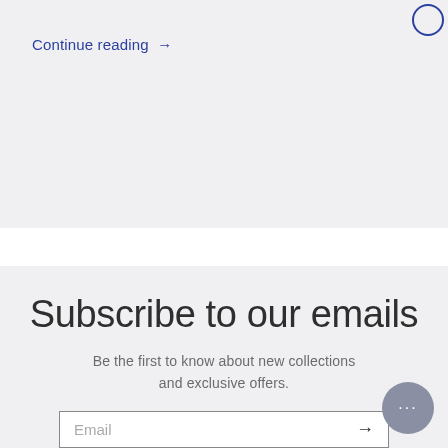Continue reading →
Subscribe to our emails
Be the first to know about new collections and exclusive offers.
Email